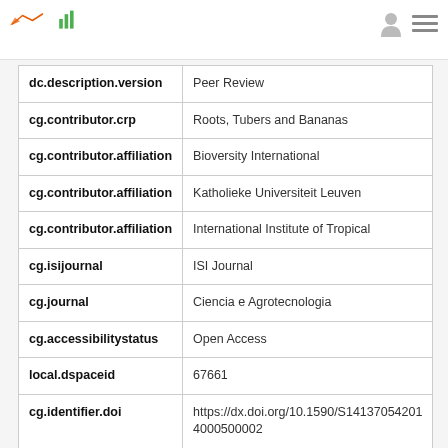| Field | Value |
| --- | --- |
| dc.description.version | Peer Review |
| cg.contributor.crp | Roots, Tubers and Bananas |
| cg.contributor.affiliation | Bioversity International |
| cg.contributor.affiliation | Katholieke Universiteit Leuven |
| cg.contributor.affiliation | International Institute of Tropical |
| cg.isijournal | ISI Journal |
| cg.journal | Ciencia e Agrotecnologia |
| cg.accessibilitystatus | Open Access |
| local.dspaceid | 67661 |
| cg.identifier.doi | https://dx.doi.org/10.1590/S141370542014000500002 |